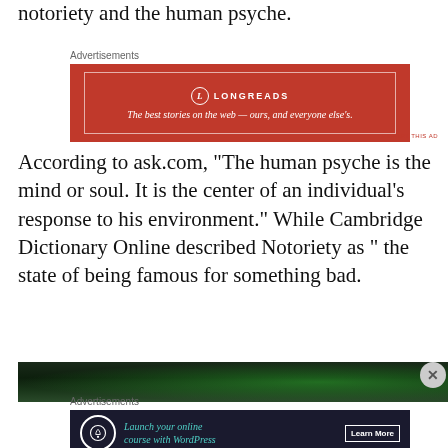notoriety and the human psyche.
[Figure (other): Longreads advertisement banner: red background with white border, Longreads logo and tagline 'The best stories on the web — ours, and everyone else's.']
According to ask.com, "The human psyche is the mind or soul. It is the center of an individual's response to his environment." While Cambridge Dictionary Online described Notoriety as " the state of being famous for something bad.
[Figure (photo): Dark green nature/aurora photograph strip]
[Figure (other): WordPress advertisement: Launch your online course with WordPress, Learn More button, dark navy background with teal text.]